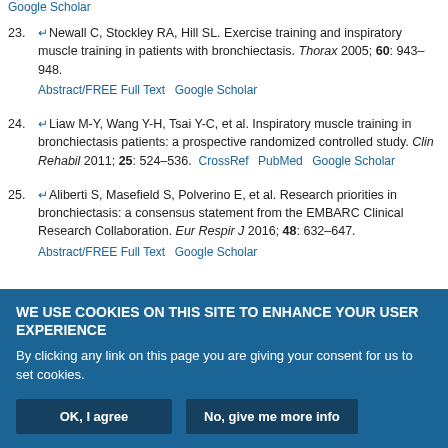Google Scholar (link at top)
23. Newall C, Stockley RA, Hill SL. Exercise training and inspiratory muscle training in patients with bronchiectasis. Thorax 2005; 60: 943–948. Abstract/FREE Full Text  Google Scholar
24. Liaw M-Y, Wang Y-H, Tsai Y-C, et al. Inspiratory muscle training in bronchiectasis patients: a prospective randomized controlled study. Clin Rehabil 2011; 25: 524–536. CrossRef  PubMed  Google Scholar
25. Aliberti S, Masefield S, Polverino E, et al. Research priorities in bronchiectasis: a consensus statement from the EMBARC Clinical Research Collaboration. Eur Respir J 2016; 48: 632–647. Abstract/FREE Full Text  Google Scholar
WE USE COOKIES ON THIS SITE TO ENHANCE YOUR USER EXPERIENCE
By clicking any link on this page you are giving your consent for us to set cookies.
OK, I agree   No, give me more info